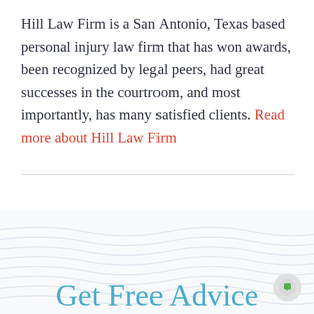Hill Law Firm is a San Antonio, Texas based personal injury law firm that has won awards, been recognized by legal peers, had great successes in the courtroom, and most importantly, has many satisfied clients. Read more about Hill Law Firm
Get Free Advice